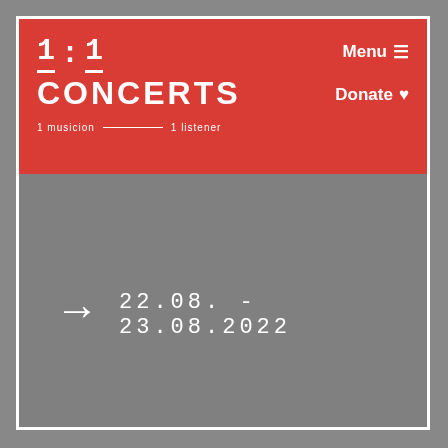[Figure (screenshot): 1:1 Concerts website screenshot with red header containing logo and navigation, and grey content area with date 22.08. - 23.08.2022]
1:1 CONCERTS
1 musicion — 1 listener
Menu ≡
Donate ♥
→  22.08. - 23.08.2022